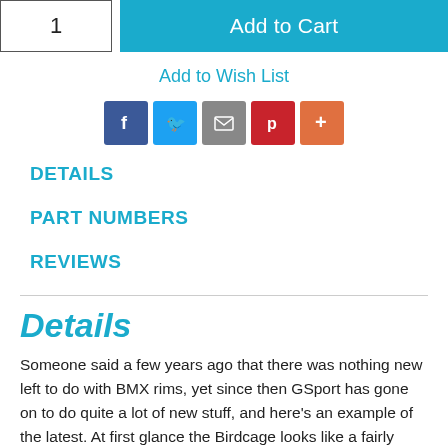[Figure (screenshot): Quantity input box showing '1' and a teal 'Add to Cart' button]
Add to Wish List
[Figure (infographic): Social sharing icons: Facebook, Twitter, Email, Pinterest, More]
DETAILS
PART NUMBERS
REVIEWS
Details
Someone said a few years ago that there was nothing new left to do with BMX rims, yet since then GSport has gone on to do quite a lot of new stuff, and here’s an example of the latest. At first glance the Birdcage looks like a fairly conventional…